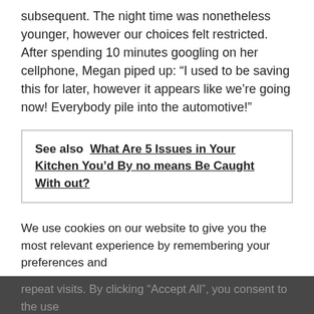subsequent. The night time was nonetheless younger, however our choices felt restricted. After spending 10 minutes googling on her cellphone, Megan piped up: “I used to be saving this for later, however it appears like we’re going now! Everybody pile into the automotive!”
See also  What Are 5 Issues in Your Kitchen You’d By no means Be Caught With out?
Fift... (partially visible text)
We use cookies on our website to give you the most relevant experience by remembering your preferences and repeat visits. By clicking “Accept All”, you consent to the use... Settings” to provide a controlled consent.
This website stores data such as cookies to enable necessary site functionality, including analytics, targeting, and personalization. By remaining on this website you indicate your consent Cookie Policy ✗